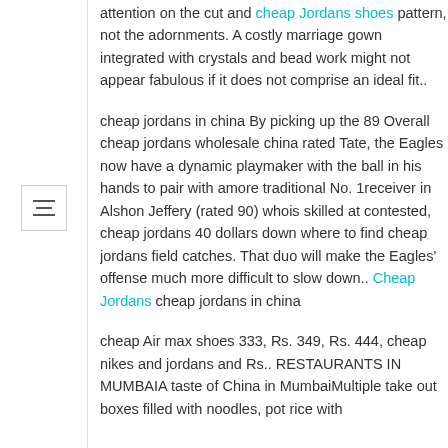attention on the cut and cheap Jordans shoes pattern, not the adornments. A costly marriage gown integrated with crystals and bead work might not appear fabulous if it does not comprise an ideal fit..
cheap jordans in china By picking up the 89 Overall cheap jordans wholesale china rated Tate, the Eagles now have a dynamic playmaker with the ball in his hands to pair with amore traditional No. 1receiver in Alshon Jeffery (rated 90) whois skilled at contested, cheap jordans 40 dollars down where to find cheap jordans field catches. That duo will make the Eagles' offense much more difficult to slow down.. Cheap Jordans cheap jordans in china
cheap Air max shoes 333, Rs. 349, Rs. 444, cheap nikes and jordans and Rs.. RESTAURANTS IN MUMBAIA taste of China in MumbaiMultiple take out boxes filled with noodles, pot rice with